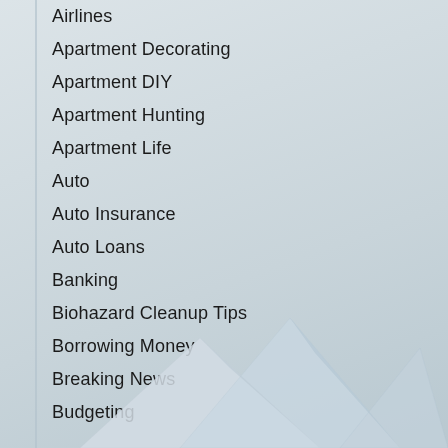Airlines
Apartment Decorating
Apartment DIY
Apartment Hunting
Apartment Life
Auto
Auto Insurance
Auto Loans
Banking
Biohazard Cleanup Tips
Borrowing Money
Breaking News
Budgeting